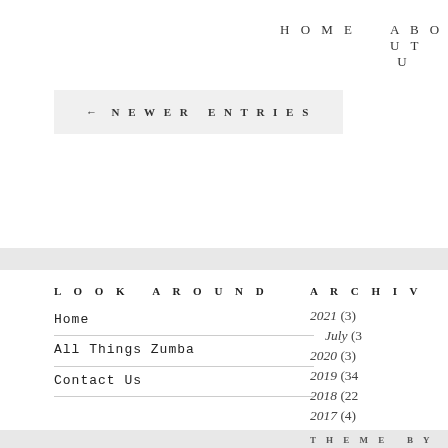HOME    ABOUT U
← NEWER ENTRIES
LOOK AROUND
ARCHIV
Home
All Things Zumba
Contact Us
2021 (3)
July (3
2020 (3)
2019 (34
2018 (22
2017 (4)
2016 (17
2015 (13
2014 (10
THEME BY